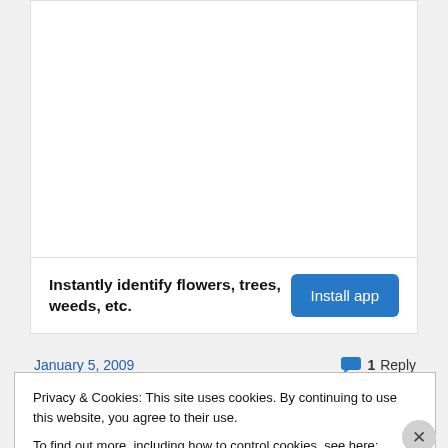[Figure (other): White card area with empty content space at top of page]
Instantly identify flowers, trees, weeds, etc.
Install app
January 5, 2009
1 Reply
Privacy & Cookies: This site uses cookies. By continuing to use this website, you agree to their use.
To find out more, including how to control cookies, see here: Cookie Policy
Close and accept